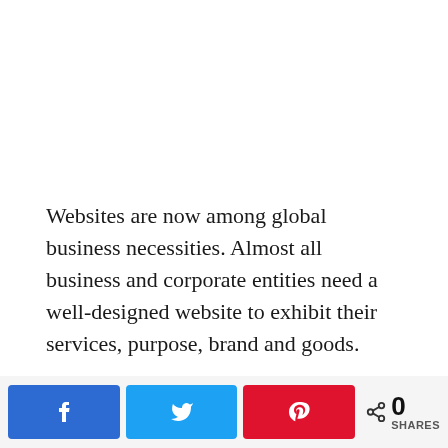Websites are now among global business necessities. Almost all business and corporate entities need a well-designed website to exhibit their services, purpose, brand and goods.
Ecommerce websites permit your business to efficiently reach all customers easily. They also provide customers with an opportunity to conveniently deal online from a remote location with devices on hand.
[Figure (infographic): Social share bar with Facebook, Twitter, Pinterest buttons and a share count of 0]